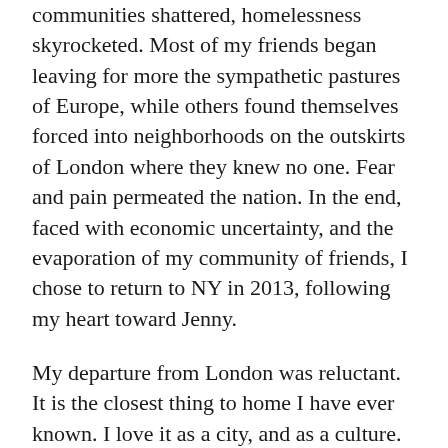communities shattered, homelessness skyrocketed. Most of my friends began leaving for more the sympathetic pastures of Europe, while others found themselves forced into neighborhoods on the outskirts of London where they knew no one. Fear and pain permeated the nation. In the end, faced with economic uncertainty, and the evaporation of my community of friends, I chose to return to NY in 2013, following my heart toward Jenny.
My departure from London was reluctant. It is the closest thing to home I have ever known. I love it as a city, and as a culture. Were economics not a factor I would return in a heartbeat – the reasons that I cannot, with the sinister realities that the Tories have unleashed, set my blood to boil.